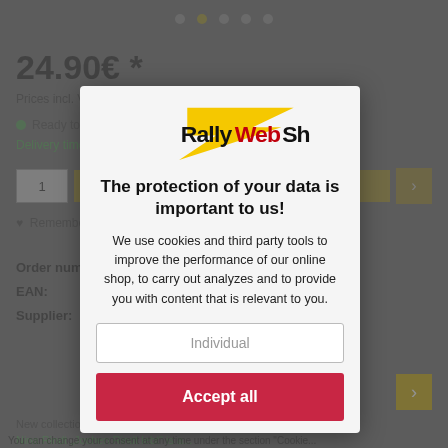24.90€ *
Prices incl. VAT), shipping costs are additional.
Ready to ship
Delivery time
Order number:
EAN: 675051068745
Supplier:
[Figure (logo): RallyWebShop logo with stylized text and lightning bolt graphic in black, red, and yellow]
The protection of your data is important to us!
We use cookies and third party tools to improve the performance of our online shop, to carry out analyzes and to provide you with content that is relevant to you.
Individual
Accept all
New collection which comies Eye, Hero and Tourlaparment
Nina Rindt „Jochen Rindt lebt“ is a...
You can change your consent at any time under the section “Cookie...